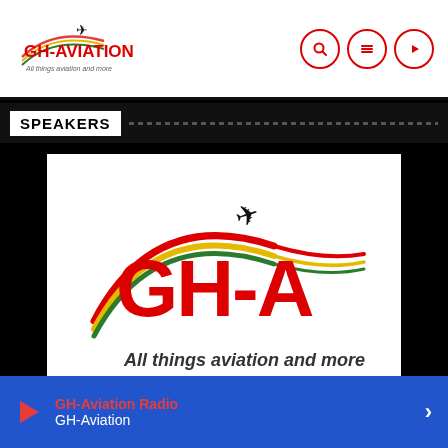[Figure (logo): GH-Aviation logo in header with airplane icon and red text GH-AVIATION, subtitle: All things aviation and more]
SPEAKERS
[Figure (logo): GH-Aviation main logo: large GH-A text in red with airplane silhouette and rainbow arc swoosh, subtitle: All things aviation and more]
GH-Aviation Radio GH-Aviation